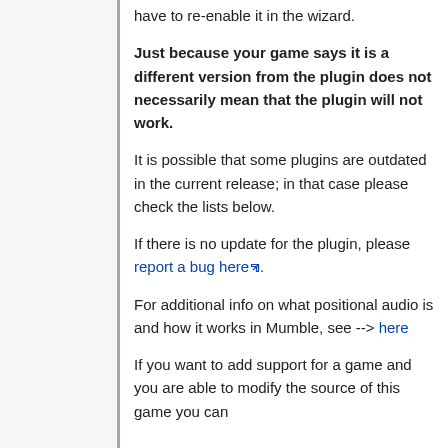have to re-enable it in the wizard.
Just because your game says it is a different version from the plugin does not necessarily mean that the plugin will not work.
It is possible that some plugins are outdated in the current release; in that case please check the lists below.
If there is no update for the plugin, please report a bug here.
For additional info on what positional audio is and how it works in Mumble, see --> here
If you want to add support for a game and you are able to modify the source of this game you can